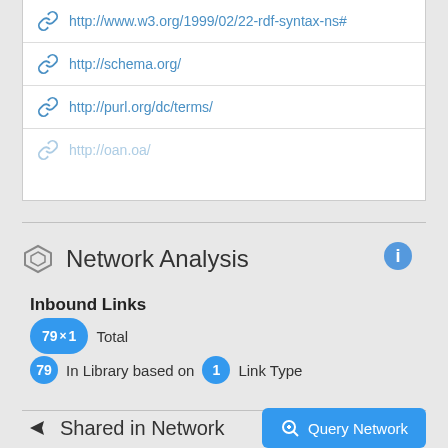http://www.w3.org/1999/02/22-rdf-syntax-ns#
http://schema.org/
http://purl.org/dc/terms/
http://oan.oa/
Network Analysis
Inbound Links
79 × 1 Total
79 In Library based on 1 Link Type
Outbound Links
1 × 1 Total
1 To Library based on 1 Link Type
Shared in Network